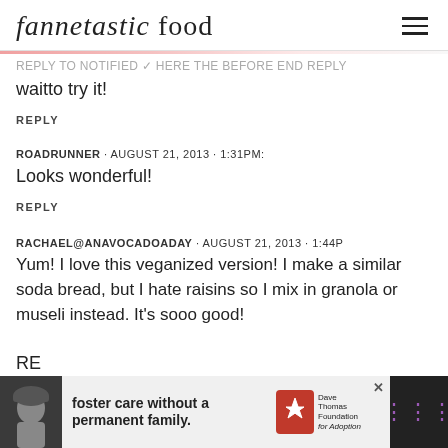fannetastic food
waitto try it!
REPLY
ROADRUNNER · AUGUST 21, 2013 · 1:31PM:
Looks wonderful!
REPLY
RACHAEL@ANAVOCADOADAY · AUGUST 21, 2013 · 1:44P
Yum! I love this veganized version! I make a similar soda bread, but I hate raisins so I mix in granola or museli instead. It's sooo good!
RE